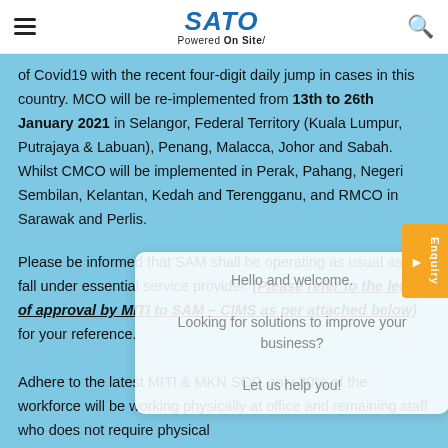SATO Powered On Site/
of Covid19 with the recent four-digit daily jump in cases in this country. MCO will be re-implemented from 13th to 26th January 2021 in Selangor, Federal Territory (Kuala Lumpur, Putrajaya & Labuan), Penang, Malacca, Johor and Sabah. Whilst CMCO will be implemented in Perak, Pahang, Negeri Sembilan, Kelantan, Kedah and Terengganu, and RMCO in Sarawak and Perlis.
Please be informed that SAM shall be operating as usual as we fall under essential service provider. (Please refer to the letter of approval by MITI to SAM – CIMS as per attached below) for your reference.
[Figure (other): Chat popup overlay with text: Hello and welcome. Looking for solutions to improve your business? Let us help you!]
Adhere to the latest MITI & MKN SOP, only 30% of the workforce will be working physically at office and remaining staff who does not require physical attendance...